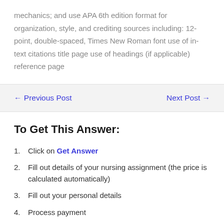mechanics; and use APA 6th edition format for organization, style, and crediting sources including: 12-point, double-spaced, Times New Roman font use of in-text citations title page use of headings (if applicable) reference page
← Previous Post    Next Post →
To Get This Answer:
1. Click on Get Answer
2. Fill out details of your nursing assignment (the price is calculated automatically)
3. Fill out your personal details
4. Process payment